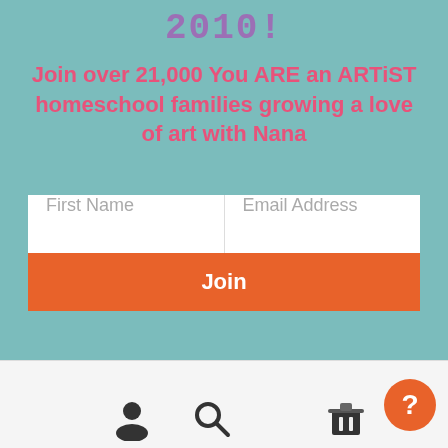2010!
Join over 21,000 You ARE an ARTiST homeschool families growing a love of art with Nana
[Figure (screenshot): Email signup form with First Name and Email Address input fields and an orange Join button]
[Figure (infographic): Bottom navigation bar with user, search, and home icons, plus an orange help bubble with question mark]